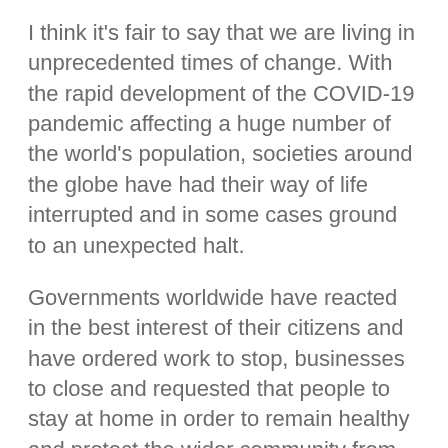I think it's fair to say that we are living in unprecedented times of change. With the rapid development of the COVID-19 pandemic affecting a huge number of the world's population, societies around the globe have had their way of life interrupted and in some cases ground to an unexpected halt.
Governments worldwide have reacted in the best interest of their citizens and have ordered work to stop, businesses to close and requested that people to stay at home in order to remain healthy and protect the wider community from the expansion of this severe illness.
Given the severe and rapid infection rate of the disease, scientists in all affected communities are working around the clock to make breakthroughs in research and find solutions to these issues to allow us to resume our normal